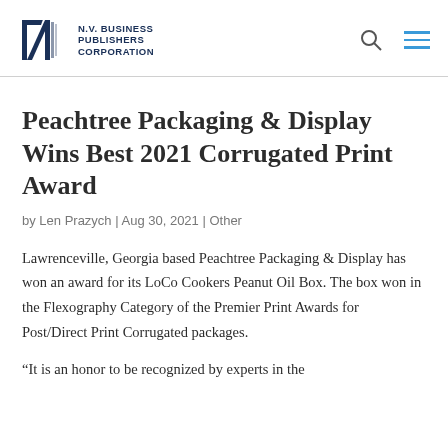N.V. BUSINESS PUBLISHERS CORPORATION
Peachtree Packaging & Display Wins Best 2021 Corrugated Print Award
by Len Prazych | Aug 30, 2021 | Other
Lawrenceville, Georgia based Peachtree Packaging & Display has won an award for its LoCo Cookers Peanut Oil Box. The box won in the Flexography Category of the Premier Print Awards for Post/Direct Print Corrugated packages.
“It is an honor to be recognized by experts in the